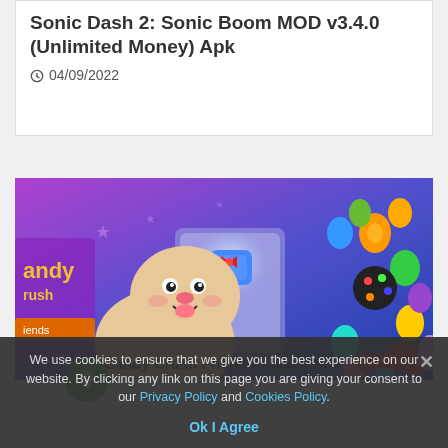Sonic Dash 2: Sonic Boom MOD v3.4.0 (Unlimited Money) Apk
04/09/2022
[Figure (illustration): Candy Crush Friends Saga game promotional image showing a cartoon bunny character holding a blue candy puzzle piece, surrounded by colorful candies on a purple/blue background with the game logo visible]
Candy Crush Friends Saga (MOD, Lives/Moves/Ver.) Apk
We use cookies to ensure that we give you the best experience on our website. By clicking any link on this page you are giving your consent to our Privacy Policy and Cookies Policy.
Ok I Agree